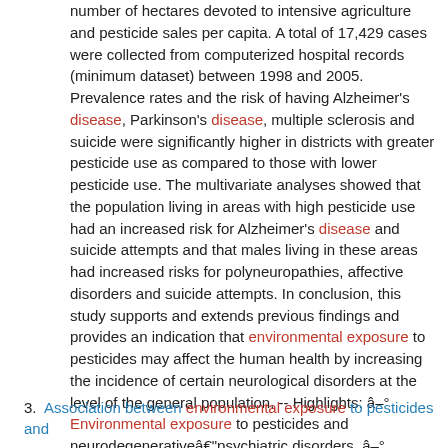number of hectares devoted to intensive agriculture and pesticide sales per capita. A total of 17,429 cases were collected from computerized hospital records (minimum dataset) between 1998 and 2005. Prevalence rates and the risk of having Alzheimer's disease, Parkinson's disease, multiple sclerosis and suicide were significantly higher in districts with greater pesticide use as compared to those with lower pesticide use. The multivariate analyses showed that the population living in areas with high pesticide use had an increased risk for Alzheimer's disease and suicide attempts and that males living in these areas had increased risks for polyneuropathies, affective disorders and suicide attempts. In conclusion, this study supports and extends previous findings and provides an indication that environmental exposure to pesticides may affect the human health by increasing the incidence of certain neurological disorders at the level of the general population. -- Highlights: â–° Environmental exposure to pesticides and neurodegenerativeâ€"psychiatric disorders. â–° Increased risk for Alzheimer's disease and suicide attempts in high exposure areas. â–° Males from areas with high pesticide exposure had a higher risk of polyneuropathy. â
3. Association between environmental exposure to pesticides and